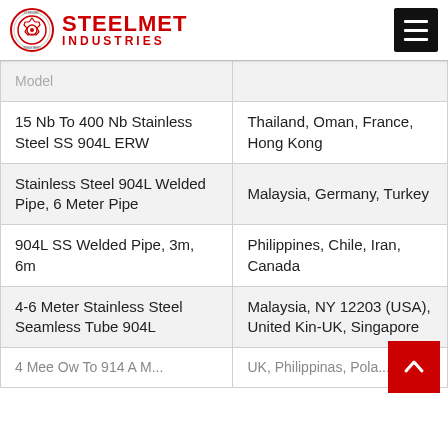STEELMET INDUSTRIES
| Product | Export Countries |
| --- | --- |
| (partial/cut-off row) |  |
| 15 Nb To 400 Nb Stainless Steel SS 904L ERW | Thailand, Oman, France, Hong Kong |
| Stainless Steel 904L Welded Pipe, 6 Meter Pipe | Malaysia, Germany, Turkey |
| 904L SS Welded Pipe, 3m, 6m | Philippines, Chile, Iran, Canada |
| 4-6 Meter Stainless Steel Seamless Tube 904L | Malaysia, NY 12203 (USA), United Kingdom -UK, Singapore |
| (partial) 4 Meter 904L M... | UK, Philippines, Poland... |